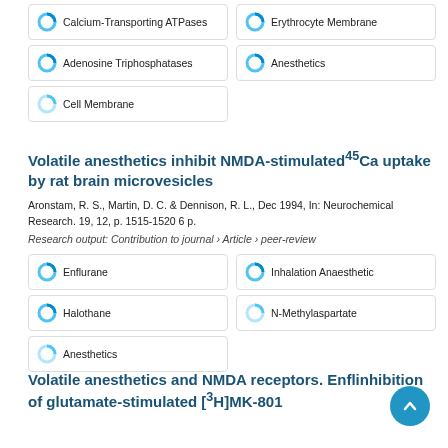Calcium-Transporting ATPases
Erythrocyte Membrane
Adenosine Triphosphatases
Anesthetics
Cell Membrane
Volatile anesthetics inhibit NMDA-stimulated⁴⁵Ca uptake by rat brain microvesicles
Aronstam, R. S., Martin, D. C. & Dennison, R. L., Dec 1994, In: Neurochemical Research. 19, 12, p. 1515-1520 6 p.
Research output: Contribution to journal › Article › peer-review
Enflurane
Inhalation Anaesthetic
Halothane
N-Methylaspartate
Anesthetics
Volatile anesthetics and NMDA receptors. Enflurane inhibition of glutamate-stimulated [³H]MK-801